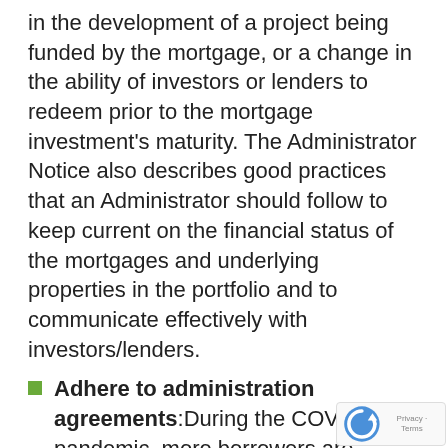in the development of a project being funded by the mortgage, or a change in the ability of investors or lenders to redeem prior to the mortgage investment's maturity. The Administrator Notice also describes good practices that an Administrator should follow to keep current on the financial status of the mortgages and underlying properties in the portfolio and to communicate effectively with investors/lenders.
Adhere to administration agreements: During the COVID-19 pandemic, more borrowers are requesting modifications to their mortgage terms. Administrators should review their administration agreements to confirm the scope of any discretion that they have to modify mortgage terms and they must adhere to those terms. They also should carefully